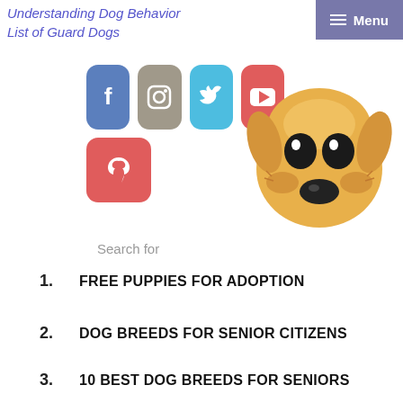Understanding Dog Behavior
List of Guard Dogs
[Figure (screenshot): Social media icons: Facebook (blue), Instagram (grey-brown), Twitter (cyan), YouTube (red), Pinterest (red)]
[Figure (illustration): Cartoon illustration of a sad-looking yellow/golden dog face]
Search for
FREE PUPPIES FOR ADOPTION
DOG BREEDS FOR SENIOR CITIZENS
10 BEST DOG BREEDS FOR SENIORS